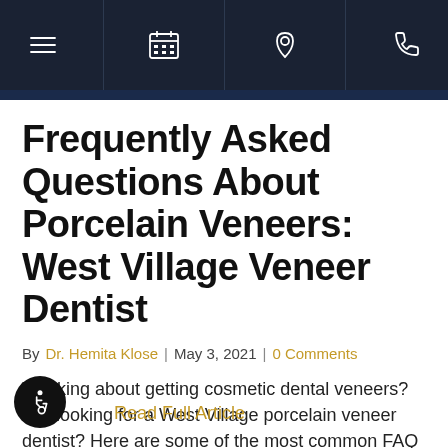Navigation bar with menu, calendar, location, and phone icons
Frequently Asked Questions About Porcelain Veneers: West Village Veneer Dentist
By Dr. Hemita Klose | May 3, 2021 | 0 Comments
Thinking about getting cosmetic dental veneers? Still looking for a West Village porcelain veneer dentist? Here are some of the most common FAQ our cosmetic dentist hears each day:
Read Full Article